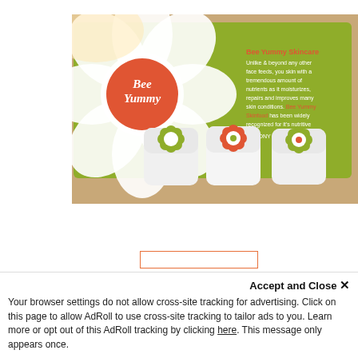[Figure (photo): Photo of three small white cylindrical containers with flower designs on their lids (green, orange/red, and green flowers), placed in front of a green card with a large white daisy graphic and 'Bee Yummy' branding text in an orange circle.]
Accept and Close ×
Your browser settings do not allow cross-site tracking for advertising. Click on this page to allow AdRoll to use cross-site tracking to tailor ads to you. Learn more or opt out of this AdRoll tracking by clicking here. This message only appears once.